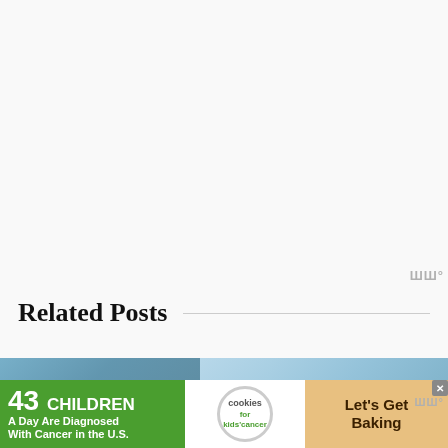Related Posts
[Figure (photo): Aerial/landscape photo strip showing city/outdoor scene with blue sky]
[Figure (infographic): Advertisement banner: '43 CHILDREN A Day Are Diagnosed With Cancer in the U.S.' with cookies for kids cancer badge and 'Let's Get Baking' text on cookie background]